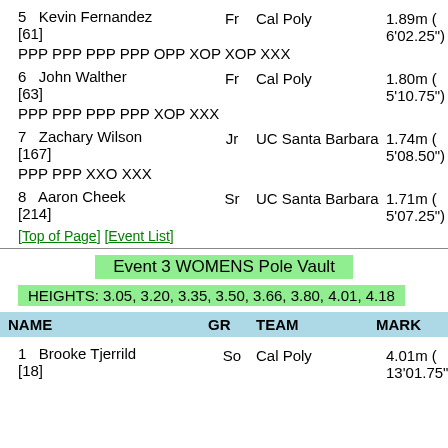5  Kevin Fernandez  Fr  Cal Poly  1.89m (6'02.25")  [61]
PPP PPP PPP PPP OPP XOP XOP XXX
6  John Walther  Fr  Cal Poly  1.80m (5'10.75")  [63]
PPP PPP PPP PPP XOP XXX
7  Zachary Wilson  Jr  UC Santa Barbara  1.74m (5'08.50")  [167]
PPP PPP XXO XXX
8  Aaron Cheek  Sr  UC Santa Barbara  1.71m (5'07.25")  [214]
[Top of Page] [Event List]
Event 3 WOMENS Pole Vault
HEIGHTS: 3.05, 3.20, 3.35, 3.50, 3.66, 3.80, 4.01, 4.18
| NAME | GR | TEAM | MARK |
| --- | --- | --- | --- |
1  Brooke Tjerrild  So  Cal Poly  4.01m (13'01.75")  [18]